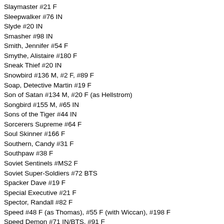Slaymaster #21 F
Sleepwalker #76 IN
Slyde #20 IN
Smasher #98 IN
Smith, Jennifer #54 F
Smythe, Alistaire #180 F
Sneak Thief #20 IN
Snowbird #136 M, #2 F, #89 F
Soap, Detective Martin #19 F
Son of Satan #134 M, #20 F (as Hellstrom)
Songbird #155 M, #65 IN
Sons of the Tiger #44 IN
Sorcerers Supreme #64 F
Soul Skinner #166 F
Southern, Candy #31 F
Southpaw #38 F
Soviet Sentinels #MS2 F
Soviet Super-Soldiers #72 BTS
Spacker Dave #19 F
Special Executive #21 F
Spector, Randall #82 F
Speed #48 F (as Thomas), #55 F (with Wiccan), #198 F
Speed Demon #71 IN/BTS, #91 F
Sphinx (Anath-Na-Mut) #54 F
Spider (Earth-15) #70 IN
Spidercide #28 IN
Spider-Girl (MC2) #1 IN, #61 IN/BTS
Spider-Man (Peter Parker) #1 M, #S5 (black costume) M, #13 F, #20 F, #67 F, #70 F (as Spider-Carnage), #77 F, #78 BTS (with Mary Jane Watson), #83 F, #86 F, #88 F, #91 F, #95 F, #108 F, #120 BTS, #126 F (with Spider-